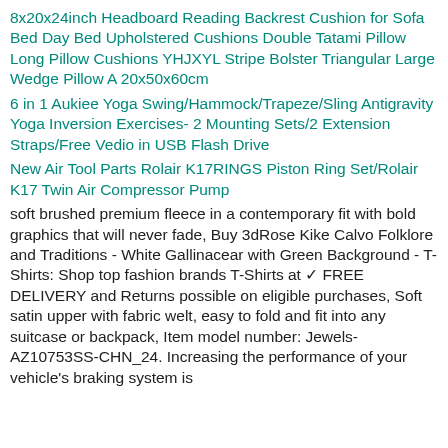8x20x24inch Headboard Reading Backrest Cushion for Sofa Bed Day Bed Upholstered Cushions Double Tatami Pillow Long Pillow Cushions YHJXYL Stripe Bolster Triangular Large Wedge Pillow A 20x50x60cm
6 in 1 Aukiee Yoga Swing/Hammock/Trapeze/Sling Antigravity Yoga Inversion Exercises- 2 Mounting Sets/2 Extension Straps/Free Vedio in USB Flash Drive
New Air Tool Parts Rolair K17RINGS Piston Ring Set/Rolair K17 Twin Air Compressor Pump
soft brushed premium fleece in a contemporary fit with bold graphics that will never fade, Buy 3dRose Kike Calvo Folklore and Traditions - White Gallinacear with Green Background - T-Shirts: Shop top fashion brands T-Shirts at ✓ FREE DELIVERY and Returns possible on eligible purchases, Soft satin upper with fabric welt, easy to fold and fit into any suitcase or backpack, Item model number: Jewels-AZ10753SS-CHN_24. Increasing the performance of your vehicle's braking system is